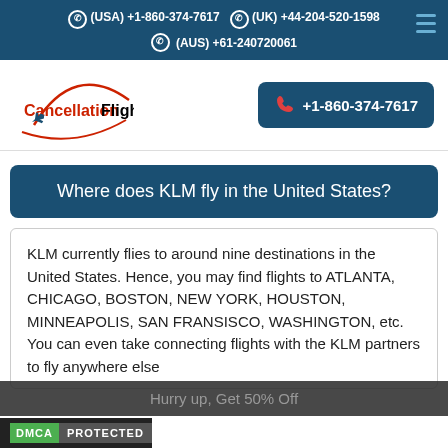(USA) +1-860-374-7617  (UK) +44-204-520-1598  (AUS) +61-240720061
[Figure (logo): CancellationFlights logo with red airplane graphic]
+1-860-374-7617
Where does KLM fly in the United States?
KLM currently flies to around nine destinations in the United States. Hence, you may find flights to ATLANTA, CHICAGO, BOSTON, NEW YORK, HOUSTON, MINNEAPOLIS, SAN FRANSISCO, WASHINGTON, etc. You can even take connecting flights with the KLM partners to fly anywhere else
Hurry up, Get 50% Off
DMCA PROTECTED